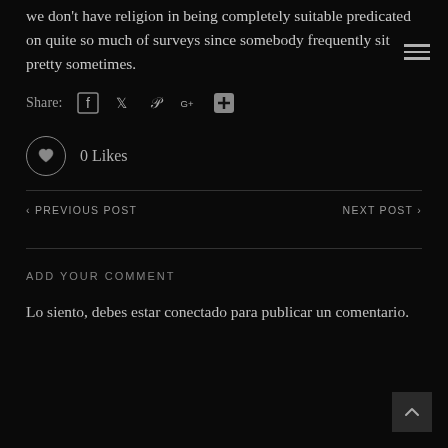we don't have religion in being completely suitable predicated on quite so much of surveys since somebody frequently sit pretty sometimes.
Share:
0 Likes
‹ PREVIOUS POST
NEXT POST ›
ADD YOUR COMMENT
Lo siento, debes estar conectado para publicar un comentario.